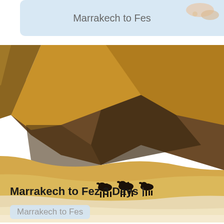[Figure (photo): Partial view of a travel card showing 'Marrakech to Fes' text on a light blue background with a small map graphic in the top right corner, clipped at the top of the page.]
[Figure (photo): Large photograph of Sahara desert sand dunes in Morocco. Massive golden-brown dunes dominate the upper portion. Three camels silhouetted in the lower middle area walking across lighter-colored sand. Dark scrubby vegetation visible near the base of the large dune. The foreground shows pale, almost white sand.]
Marrakech to Fez 3 Days |
Marrakech to Fes